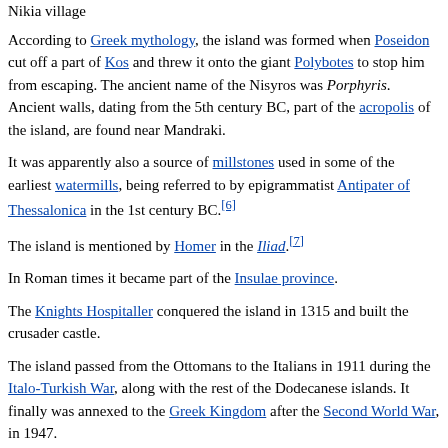Nikia village
According to Greek mythology, the island was formed when Poseidon cut off a part of Kos and threw it onto the giant Polybotes to stop him from escaping. The ancient name of the Nisyros was Porphyris. Ancient walls, dating from the 5th century BC, part of the acropolis of the island, are found near Mandraki.
It was apparently also a source of millstones used in some of the earliest watermills, being referred to by epigrammatist Antipater of Thessalonica in the 1st century BC.[6]
The island is mentioned by Homer in the Iliad.[7]
In Roman times it became part of the Insulae province.
The Knights Hospitaller conquered the island in 1315 and built the crusader castle.
The island passed from the Ottomans to the Italians in 1911 during the Italo-Turkish War, along with the rest of the Dodecanese islands. It finally was annexed to the Greek Kingdom after the Second World War, in 1947.
Christianity